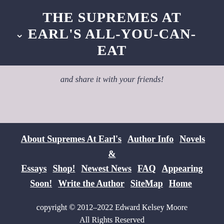THE SUPREMES AT EARL'S ALL-YOU-CAN-EAT
and share it with your friends!
About Supremes At Earl's  Author Info  Novels & Essays  Shop!  Newest News  FAQ  Appearing Soon!  Write the Author  SiteMap  Home
copyright © 2012–2022 Edward Kelsey Moore All Rights Reserved